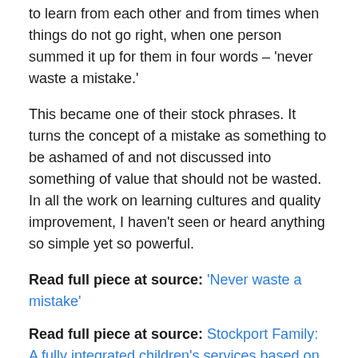to learn from each other and from times when things do not go right, when one person summed it up for them in four words – 'never waste a mistake.'
This became one of their stock phrases. It turns the concept of a mistake as something to be ashamed of and not discussed into something of value that should not be wasted. In all the work on learning cultures and quality improvement, I haven't seen or heard anything so simple yet so powerful.
Read full piece at source: 'Never waste a mistake'
Read full piece at source: Stockport Family: A fully integrated children's services based on restorative practice
Family by Family